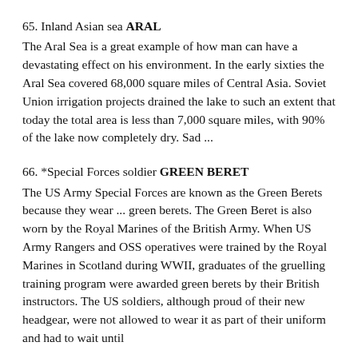65. Inland Asian sea ARAL
The Aral Sea is a great example of how man can have a devastating effect on his environment. In the early sixties the Aral Sea covered 68,000 square miles of Central Asia. Soviet Union irrigation projects drained the lake to such an extent that today the total area is less than 7,000 square miles, with 90% of the lake now completely dry. Sad ...
66. *Special Forces soldier GREEN BERET
The US Army Special Forces are known as the Green Berets because they wear ... green berets. The Green Beret is also worn by the Royal Marines of the British Army. When US Army Rangers and OSS operatives were trained by the Royal Marines in Scotland during WWII, graduates of the gruelling training program were awarded green berets by their British instructors. The US soldiers, although proud of their new headgear, were not allowed to wear it as part of their uniform and had to wait until